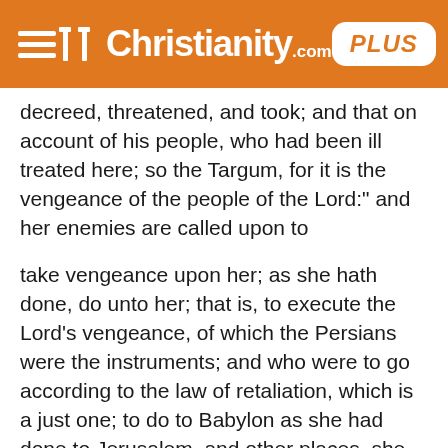Christianity.com PLUS
decreed, threatened, and took; and that on account of his people, who had been ill treated here; so the Targum, for it is the vengeance of the people of the Lord:" and her enemies are called upon to
take vengeance upon her; as she hath done, do unto her; that is, to execute the Lord’s vengeance, of which the Persians were the instruments; and who were to go according to the law of retaliation, which is a just one; to do to Babylon as she had done to Jerusalem, and other places, she had utterly destroyed. These words seem to be referred to, and much the same are used of mystical Babylon, Revelation 18:6.
Verse 10. Cut off the sowers from in Babylon, and